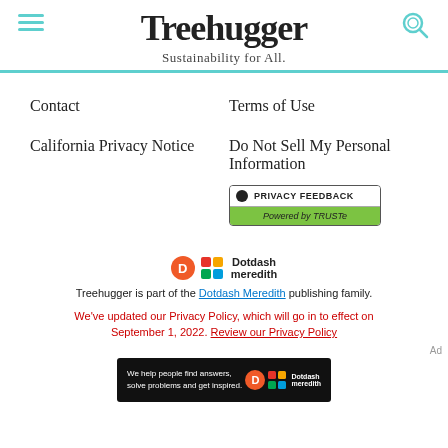Treehugger — Sustainability for All.
Contact
Terms of Use
California Privacy Notice
Do Not Sell My Personal Information
[Figure (logo): Privacy Feedback badge powered by TRUSTe]
[Figure (logo): Dotdash Meredith logo — orange D circle and colorful grid icon with text Dotdash meredith]
Treehugger is part of the Dotdash Meredith publishing family.
We've updated our Privacy Policy, which will go in to effect on September 1, 2022. Review our Privacy Policy
[Figure (infographic): Ad banner: We help people find answers, solve problems and get inspired. Dotdash meredith logo on dark background]